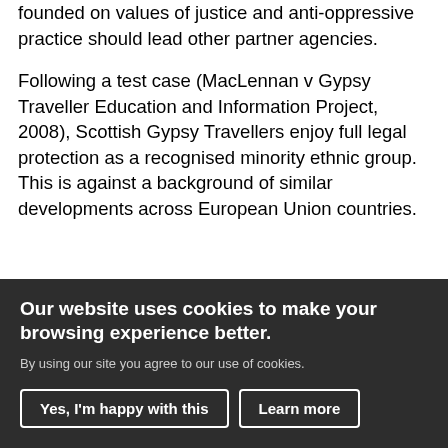founded on values of justice and anti-oppressive practice should lead other partner agencies.
Following a test case (MacLennan v Gypsy Traveller Education and Information Project, 2008), Scottish Gypsy Travellers enjoy full legal protection as a recognised minority ethnic group. This is against a background of similar developments across European Union countries.
The Equality Act 2010 supersedes and incorporates previous race relations legislation. It operates a binary role alongside the Human Rights Act 1998 which reflects obligations and
Our website uses cookies to make your browsing experience better.
By using our site you agree to our use of cookies.
Yes, I'm happy with this
Learn more